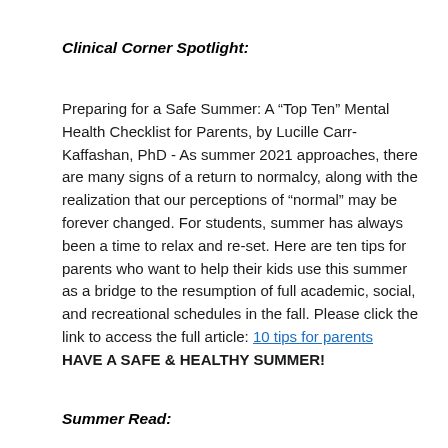Clinical Corner Spotlight:
Preparing for a Safe Summer:  A “Top Ten” Mental Health Checklist for Parents, by Lucille Carr-Kaffashan, PhD -   As summer 2021 approaches, there are many signs of a return to normalcy, along with the realization that our perceptions of “normal” may be forever changed.  For students, summer has always been a time to relax and re-set.  Here are ten tips for parents who want to help their kids use this summer as a bridge to the resumption of full academic, social, and recreational schedules in the fall.  Please click the link to access the full article: 10 tips for parents  HAVE A SAFE & HEALTHY SUMMER!
Summer Read: